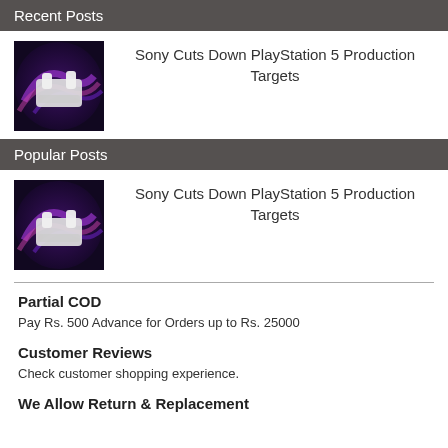Recent Posts
[Figure (photo): PlayStation 5 concept render with purple/blue lighting]
Sony Cuts Down PlayStation 5 Production Targets
Popular Posts
[Figure (photo): PlayStation 5 concept render with purple/blue lighting]
Sony Cuts Down PlayStation 5 Production Targets
Partial COD
Pay Rs. 500 Advance for Orders up to Rs. 25000
Customer Reviews
Check customer shopping experience.
We Allow Return & Replacement